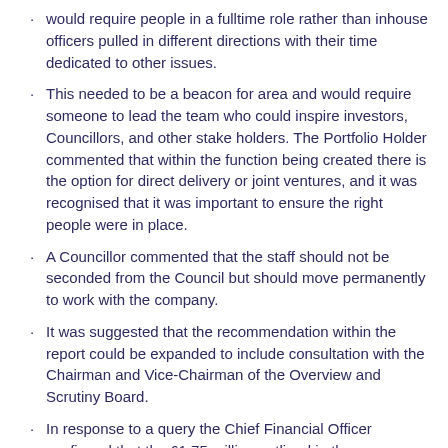would require people in a fulltime role rather than inhouse officers pulled in different directions with their time dedicated to other issues.
This needed to be a beacon for area and would require someone to lead the team who could inspire investors, Councillors, and other stake holders. The Portfolio Holder commented that within the function being created there is the option for direct delivery or joint ventures, and it was recognised that it was important to ensure the right people were in place.
A Councillor commented that the staff should not be seconded from the Council but should move permanently to work with the company.
It was suggested that the recommendation within the report could be expanded to include consultation with the Chairman and Vice-Chairman of the Overview and Scrutiny Board.
In response to a query the Chief Financial Officer confirmed that the £1.75 million outlined in the